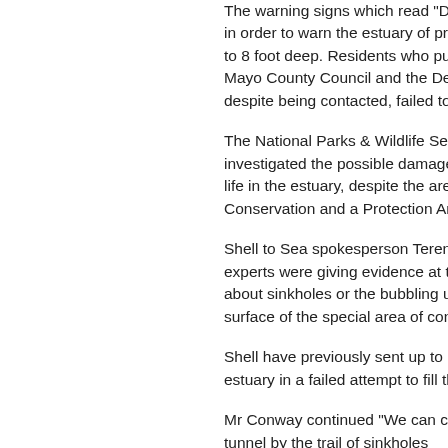The warning signs which read "Danger Keep Back" were erected in order to warn the estuary of presence of the sinkholes, been up to 8 foot deep. Residents who put up the warning signs after both Mayo County Council and the Department of Energy Resources, despite being contacted, failed to take any action.
The National Parks & Wildlife Service are believed not to have investigated the possible damage that may be occurring to benthic life in the estuary, despite the area being both a Special Area of Conservation and a Protection Area.
Shell to Sea spokesperson Terence Conway said "When Shell experts were giving evidence at the hearing, there wasn't a word about sinkholes or the bubbling up of possible contaminants to the surface of the special area of conservation."
Shell have previously sent up to 10 men with shovels out on the estuary in a failed attempt to fill the sinkholes.
Mr Conway continued "We can currently track the path of the tunnel by the trail of sinkholes